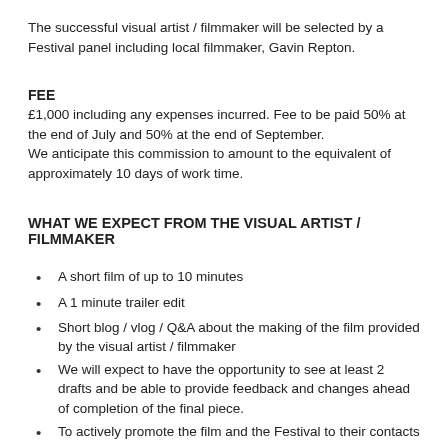The successful visual artist / filmmaker will be selected by a Festival panel including local filmmaker, Gavin Repton.
FEE
£1,000 including any expenses incurred. Fee to be paid 50% at the end of July and 50% at the end of September.
We anticipate this commission to amount to the equivalent of approximately 10 days of work time.
WHAT WE EXPECT FROM THE VISUAL ARTIST / FILMMAKER
A short film of up to 10 minutes
A 1 minute trailer edit
Short blog / vlog / Q&A about the making of the film provided by the visual artist / filmmaker
We will expect to have the opportunity to see at least 2 drafts and be able to provide feedback and changes ahead of completion of the final piece.
To actively promote the film and the Festival to their contacts
A willingness to engage with local media should the